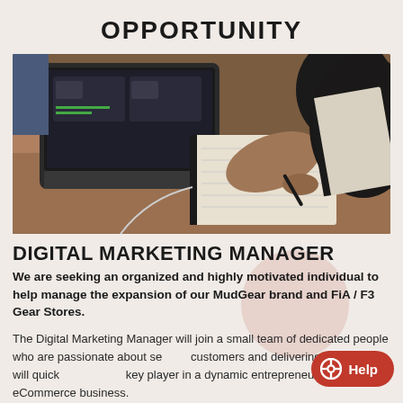OPPORTUNITY
[Figure (photo): Overhead view of a person writing in a notebook beside an open laptop, sitting at a wooden table.]
DIGITAL MARKETING MANAGER
We are seeking an organized and highly motivated individual to help manage the expansion of our MudGear brand and FiA / F3 Gear Stores.
The Digital Marketing Manager will join a small team of dedicated people who are passionate about serving customers and delivering value. You will quickly become a key player in a dynamic entrepreneurial eCommerce business.